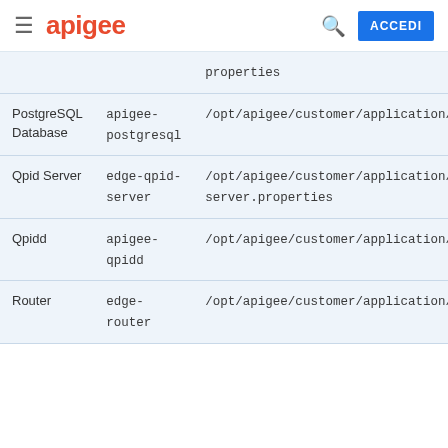apigee — ACCEDI
| Component | Package | Properties File |
| --- | --- | --- |
|  |  | properties |
| PostgreSQL Database | apigee-postgresql | /opt/apigee/customer/application/postgresql.properties |
| Qpid Server | edge-qpid-server | /opt/apigee/customer/application/qpid-server.properties |
| Qpidd | apigee-qpidd | /opt/apigee/customer/application/qpidd.properties |
| Router | edge-router | /opt/apigee/customer/application/ |